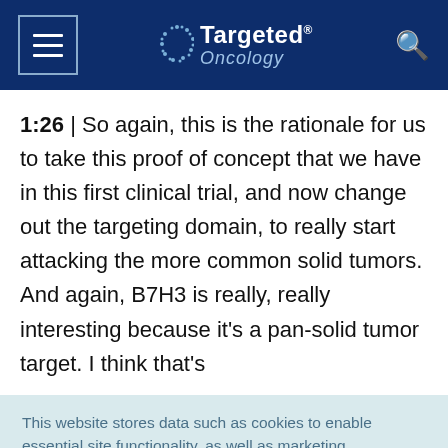Targeted Oncology
1:26 | So again, this is the rationale for us to take this proof of concept that we have in this first clinical trial, and now change out the targeting domain, to really start attacking the more common solid tumors. And again, B7H3 is really, really interesting because it's a pan-solid tumor target. I think that's
This website stores data such as cookies to enable essential site functionality, as well as marketing, personalization, and analytics. Cookie Policy
Accept
Deny